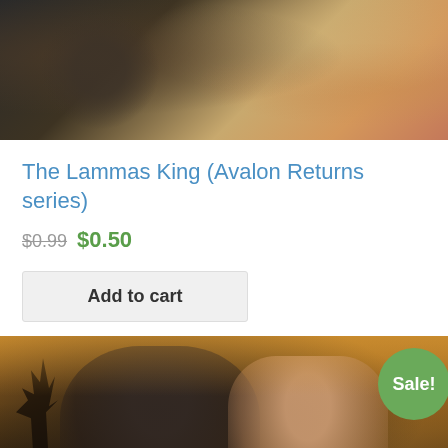[Figure (illustration): Book cover art showing dark dramatic figures, leather textures, and warm golden tones — top portion of a romance/fantasy novel cover]
The Lammas King (Avalon Returns series)
$0.99 $0.50
Add to cart
[Figure (illustration): Book cover art for a second product showing a romantic scene with a dark-haired man and a woman at sunset, with a 'Sale!' badge in the upper right corner]